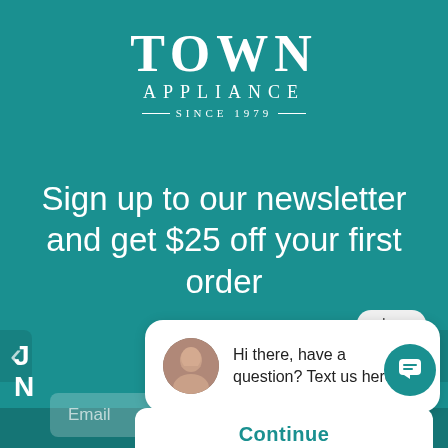[Figure (logo): Town Appliance logo with serif font, 'TOWN' in large letters, 'APPLIANCE' below, 'SINCE 1979' with decorative lines]
Sign up to our newsletter and get $25 off your first order
[Figure (screenshot): Chat widget popup showing a woman's avatar and text 'Hi there, have a question? Text us here!' with a teal chat icon button. Also shows a close button, email input field, and Continue button.]